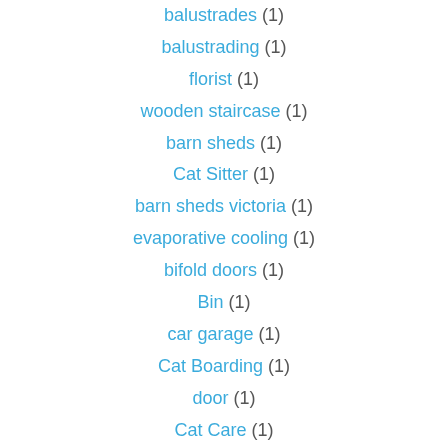balustrades (1)
balustrading (1)
florist (1)
wooden staircase (1)
barn sheds (1)
Cat Sitter (1)
barn sheds victoria (1)
evaporative cooling (1)
bifold doors (1)
Bin (1)
car garage (1)
Cat Boarding (1)
door (1)
Cat Care (1)
dining table (1)
dining furniture (1)